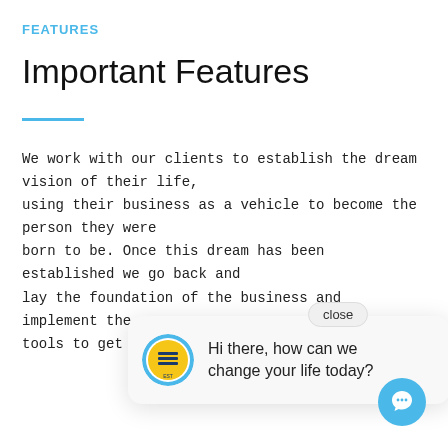FEATURES
Important Features
We work with our clients to establish the dream vision of their life, using their business as a vehicle to become the person they were born to be. Once this dream has been established we go back and lay the foundation of the business and implement the ne tools to get you whe
[Figure (screenshot): Chat popup widget showing a logo avatar and message 'Hi there, how can we change your life today?' with a close button and chat bubble icon in the bottom right corner.]